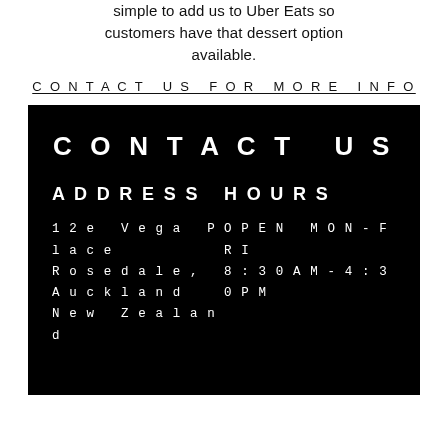simple to add us to Uber Eats so customers have that dessert option available.
CONTACT US FOR MORE INFO
[Figure (infographic): Black box contact info panel showing CONTACT US heading, ADDRESS section with 12e Vega Place, Rosedale, Auckland, New Zealand, and HOURS section with OPEN MON-FRI 8:30AM-4:30PM]